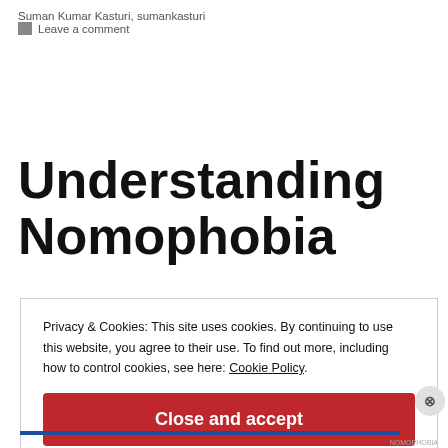Suman Kumar Kasturi, sumankasturi
Leave a comment
Understanding Nomophobia
Privacy & Cookies: This site uses cookies. By continuing to use this website, you agree to their use. To find out more, including how to control cookies, see here: Cookie Policy
Close and accept